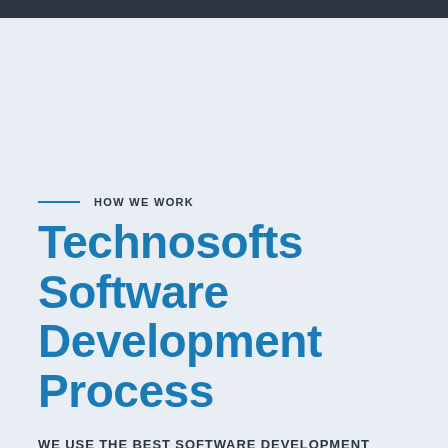HOW WE WORK
Technosofts Software Development Process
WE USE THE BEST SOFTWARE DEVELOPMENT PRACTICES IN EVERYTHING WE DO.